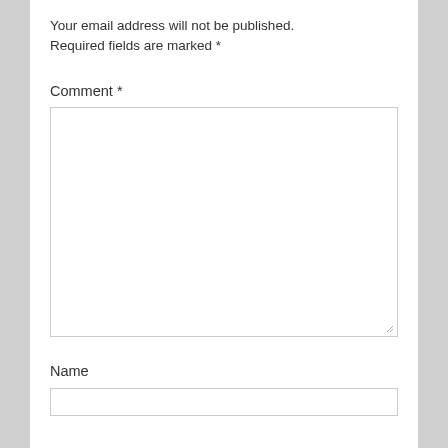Your email address will not be published.
Required fields are marked *
Comment *
[Figure (other): Large empty textarea input box with resize handle]
Name
[Figure (other): Single-line text input box for Name field]